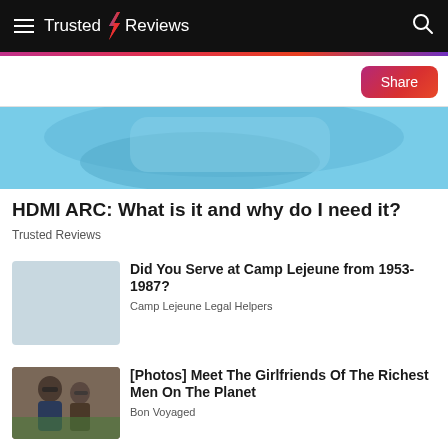Trusted Reviews
[Figure (photo): Partial view of a device/product on a light blue background]
HDMI ARC: What is it and why do I need it?
Trusted Reviews
Did You Serve at Camp Lejeune from 1953- 1987?
Camp Lejeune Legal Helpers
[Figure (photo): Man and woman in sunglasses at outdoor event]
[Photos] Meet The Girlfriends Of The Richest Men On The Planet
Bon Voyaged